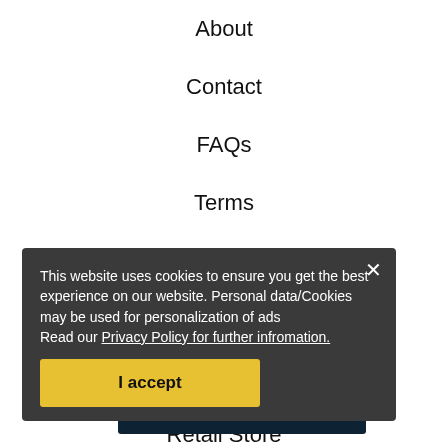About
Contact
FAQs
Terms
Refunds
Privacy
Delivery
Retail Store
Gift Vouchers
Contact Us
This website uses cookies to ensure you get the best experience on our website. Personal data/Cookies may be used for personalization of ads Read our Privacy Policy for further infromation.
I accept
Details
Call Us